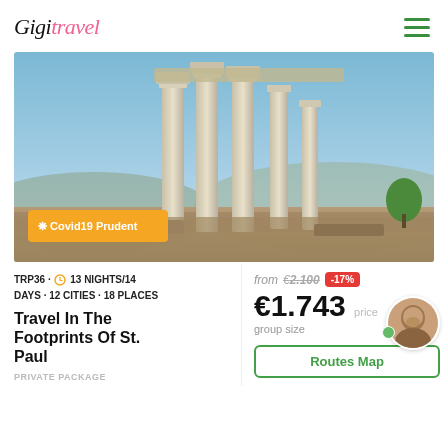Gigit travel
[Figure (photo): Ancient Greek/Roman columns ruins against a blue sky with hills in the background. A yellow badge overlay reads '❋ Covid19 Prudent']
TRP36 · 🕐 13 NIGHTS/14 DAYS · 12 CITIES · 18 PLACES
from €2.100 -17%
€1.743 price per person
group size
Travel In The Footprints Of St. Paul
PRIVATE PACKAGE
Routes Map